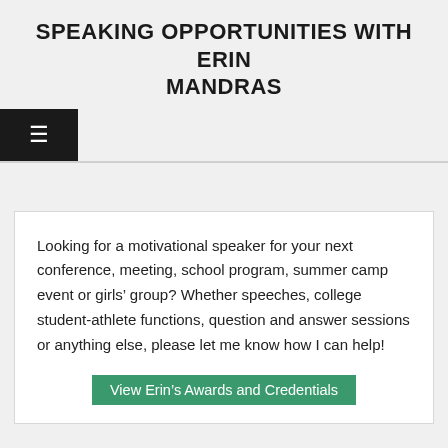SPEAKING OPPORTUNITIES WITH ERIN MANDRAS
Looking for a motivational speaker for your next conference, meeting, school program, summer camp event or girls’ group? Whether speeches, college student-athlete functions, question and answer sessions or anything else, please let me know how I can help!
View Erin’s Awards and Credentials